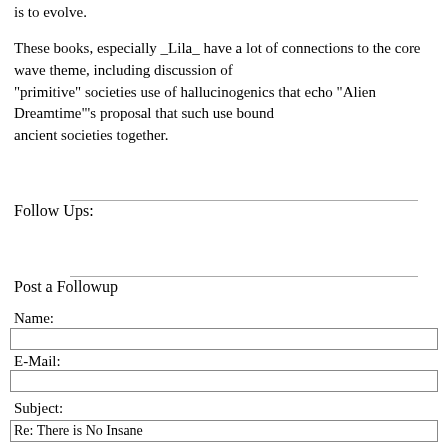is to evolve.
These books, especially _Lila_ have a lot of connections to the core wave theme, including discussion of "primitive" societies use of hallucinogenics that echo "Alien Dreamtime"'s proposal that such use bound ancient societies together.
Follow Ups:
Post a Followup
Name:
E-Mail:
Subject:
Re: There is No Insane